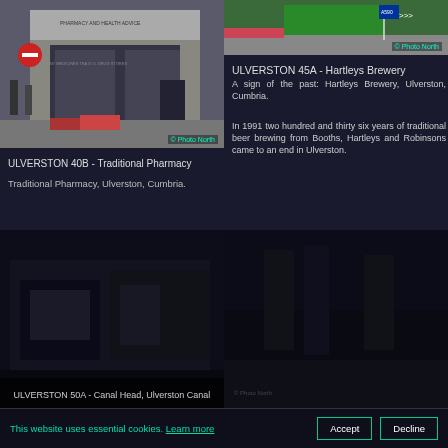[Figure (photo): Street scene with traditional pharmacy shop front, people walking, red no-entry sign, flower displays. Ulverston, Cumbria. Photo North watermark.]
ULVERSTON 40B - Traditional Pharmacy
Traditional Pharmacy, Ulverston, Cumbria.
[Figure (photo): Roundabout with road signs and green verge, flowers visible. Photo North watermark.]
ULVERSTON 45A - Hartleys Brewery
A sign of the past: Hartleys Brewery, Ulverston, Cumbria.
In 1991 two hundred and thirty six years of traditional beer brewing from Booths, Hartleys and Robinsons came to an end in Ulverston.
[Figure (photo): Dark nighttime or low-light photo of Canal Head, Ulverston Canal area.]
ULVERSTON 50A - Canal Head, Ulverston Canal
[Figure (photo): Dark scene with structures visible, Ulverston area.]
This website uses essential cookies. Learn more